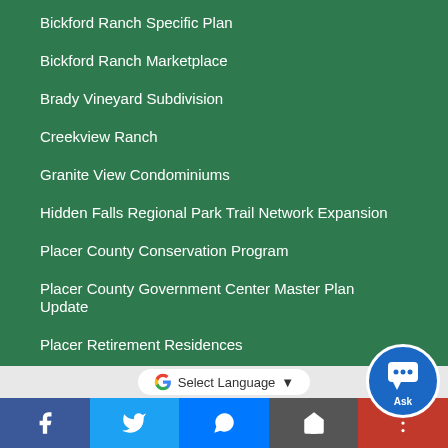Bickford Ranch Specific Plan
Bickford Ranch Marketplace
Brady Vineyard Subdivision
Creekview Ranch
Granite View Condominiums
Hidden Falls Regional Park Trail Network Expansion
Placer County Conservation Program
Placer County Government Center Master Plan Update
Placer Retirement Residences
Placer Vineyards
Project 8 Winery
Quarry Ridge Professional Office Park
[Figure (screenshot): Questions? chat button and Ask button overlay on green background]
Select Language
[Figure (infographic): Social sharing bottom bar with Facebook, Twitter, Messenger, share and more buttons]